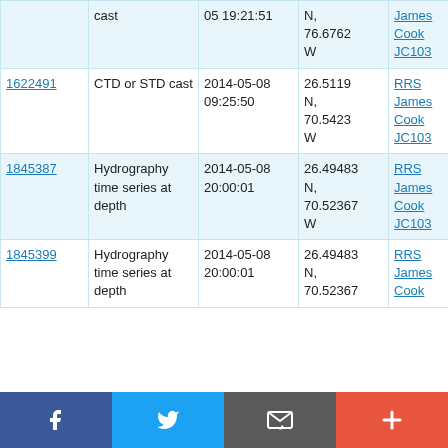| ID | Type | Date/Time | Location | Vessel |
| --- | --- | --- | --- | --- |
| (cont.) | cast | 05 19:21:51 | N, 76.6762 W | RRS James Cook JC103 |
| 1622491 | CTD or STD cast | 2014-05-08 09:25:50 | 26.5119 N, 70.5423 W | RRS James Cook JC103 |
| 1845387 | Hydrography time series at depth | 2014-05-08 20:00:01 | 26.49483 N, 70.52367 W | RRS James Cook JC103 |
| 1845399 | Hydrography time series at depth | 2014-05-08 20:00:01 | 26.49483 N, 70.52367 | RRS James Cook |
[Figure (other): Social sharing bar with Facebook, Twitter, Email, and Plus buttons]